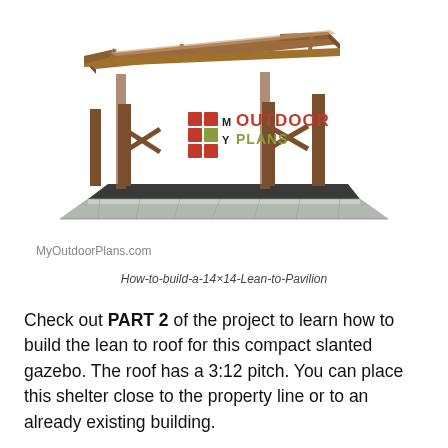[Figure (illustration): 3D rendered illustration of a 14x14 lean-to pavilion structure with wooden beams, posts, and a slanted roof over a dark floor on a stone/concrete base. MyOutdoorPlans.com watermark logo overlaid in the center.]
MyOutdoorPlans.com
How-to-build-a-14×14-Lean-to-Pavilion
Check out PART 2 of the project to learn how to build the lean to roof for this compact slanted gazebo. The roof has a 3:12 pitch. You can place this shelter close to the property line or to an already existing building.